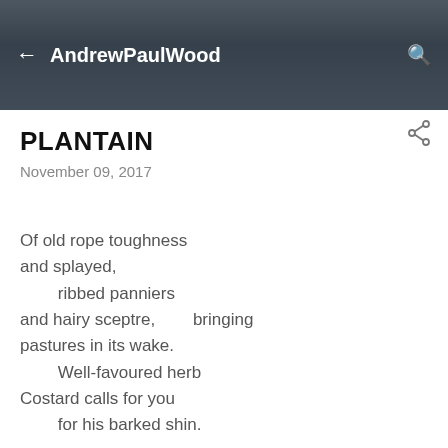AndrewPaulWood
PLANTAIN
November 09, 2017
Of old rope toughness
and splayed,
        ribbed panniers
and hairy sceptre,        bringing
pastures in its wake.
        Well-favoured herb
Costard calls for you
        for his barked shin.

You get around,